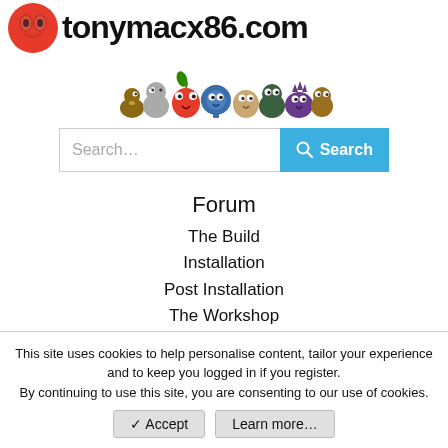[Figure (logo): tonymacx86.com logo with red apple icon and cartoon mascot characters]
[Figure (illustration): Row of cartoon animal/monster mascot characters]
Search...
Forum
The Build
Installation
Post Installation
The Workshop
The Tools
The Clubhouse
Infinite Loop
Laptops
This site uses cookies to help personalise content, tailor your experience and to keep you logged in if you register.
By continuing to use this site, you are consenting to our use of cookies.